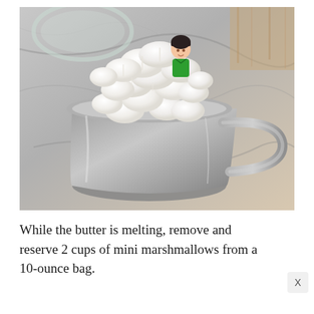[Figure (photo): A metal measuring cup overflowing with mini white marshmallows, sitting on a marble surface. A small green-and-black toy figurine sits on top of the marshmallows. A glass bowl is partially visible in the background.]
While the butter is melting, remove and reserve 2 cups of mini marshmallows from a 10-ounce bag.